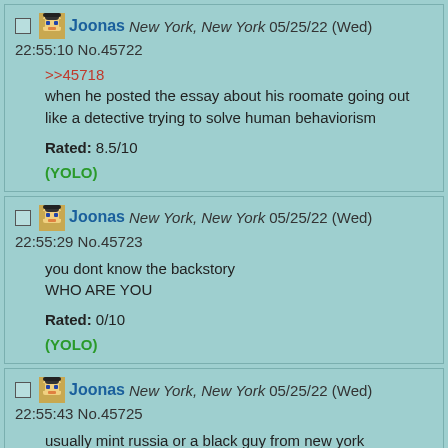Joonas New York, New York 05/25/22 (Wed) 22:55:10 No.45722
>>45718
when he posted the essay about his roomate going out like a detective trying to solve human behaviorism
Rated: 8.5/10
(YOLO)
Joonas New York, New York 05/25/22 (Wed) 22:55:29 No.45723
you dont know the backstory
WHO ARE YOU
Rated: 0/10
(YOLO)
Joonas New York, New York 05/25/22 (Wed) 22:55:43 No.45725
usually mint russia or a black guy from new york
Rated: 4.5/10